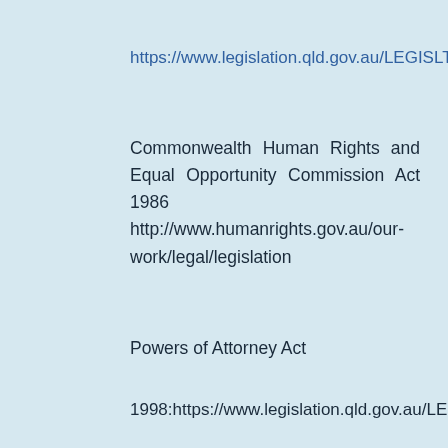https://www.legislation.qld.gov.au/LEGISLTN
Commonwealth Human Rights and Equal Opportunity Commission Act 1986
http://www.humanrights.gov.au/our-work/legal/legislation
Powers of Attorney Act
1998:https://www.legislation.qld.gov.au/LEGI